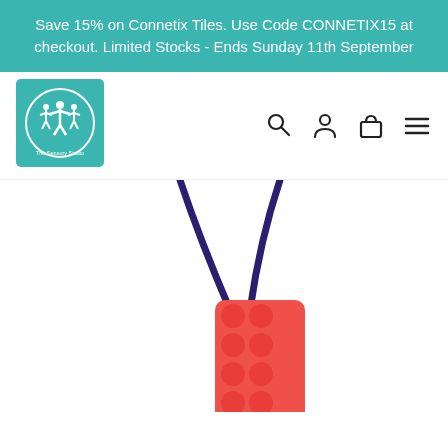Save 15% on Connetix Tiles. Use Code CONNETIX15 at checkout. Limited Stocks - Ends Sunday 11th September
[Figure (logo): The Sensory Studio logo - teal square with white circle and stylized figures, text around circle]
[Figure (other): Navigation icons: search magnifier, user/person outline, shopping bag outline, hamburger menu lines]
[Figure (photo): A red silicone brick/lego-shaped chew necklace pendant on a dark navy blue cord/string against white background]